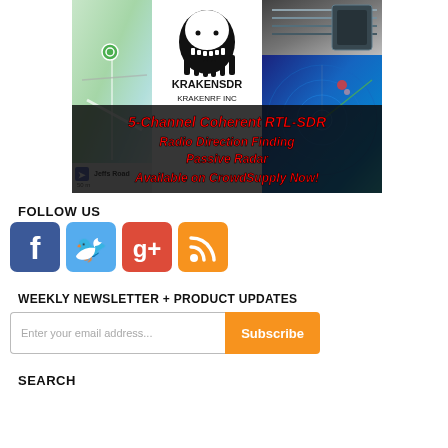[Figure (infographic): KrakenSDR advertisement banner showing a map with navigation, KrakenRF Inc logo, hardware images, and radar display with text: 5-Channel Coherent RTL-SDR, Radio Direction Finding, Passive Radar, Available on CrowdSupply Now!]
FOLLOW US
[Figure (infographic): Four social media icons: Facebook (blue), Twitter (light blue), Google+ (red), RSS feed (orange)]
WEEKLY NEWSLETTER + PRODUCT UPDATES
[Figure (infographic): Email subscription form with input field placeholder 'Enter your email address...' and orange Subscribe button]
SEARCH